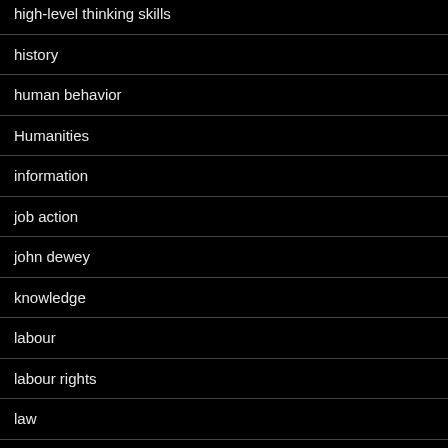high-level thinking skills
history
human behavior
Humanities
information
job action
john dewey
knowledge
labour
labour rights
law
learning
Learning Design